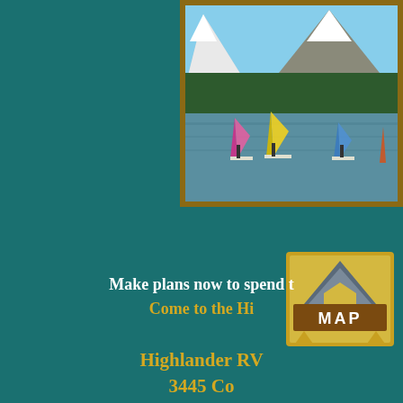[Figure (photo): Windsurfers on a lake with snow-capped mountains and pine forest in the background, framed with a brown wooden-style border]
[Figure (logo): MAP logo - gold/yellow square with a stylized mountain chevron shape in gray/blue above the word MAP in white bold text on a brown banner]
Make plans now to spend t
Come to the Hi
Highlander RV
3445 Co